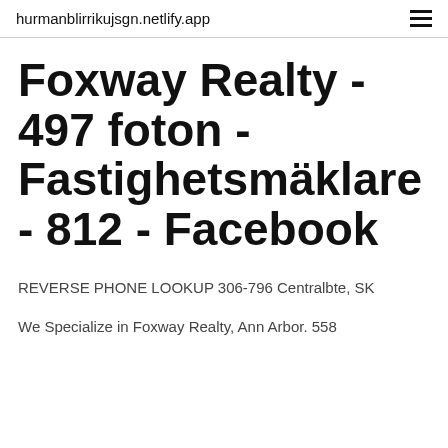hurmanblirrikujsgn.netlify.app
Foxway Realty - 497 foton - Fastighetsmäklare - 812 - Facebook
REVERSE PHONE LOOKUP 306-796 Centralbte, SK
We Specialize in Foxway Realty, Ann Arbor. 558